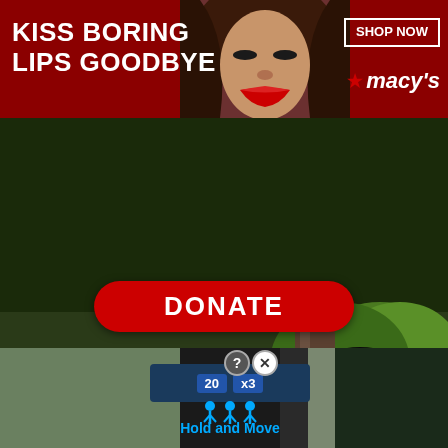[Figure (photo): Macy's advertising banner with red background showing a woman with red lips. Text reads 'KISS BORING LIPS GOODBYE' and 'SHOP NOW' with Macy's star logo.]
[Figure (photo): Large black dog with distinctive brindle/striped markings standing in a natural outdoor setting with green grass and a rock, mouth open, facing right. A red oval DONATE button is overlaid at the bottom of the image.]
[Figure (screenshot): Bottom advertisement strip showing a mobile game UI with a dark blue HUD bar showing score '20' and multiplier 'x3', a 'Hold and Move' instruction with blue person icons, set over a landscape background.]